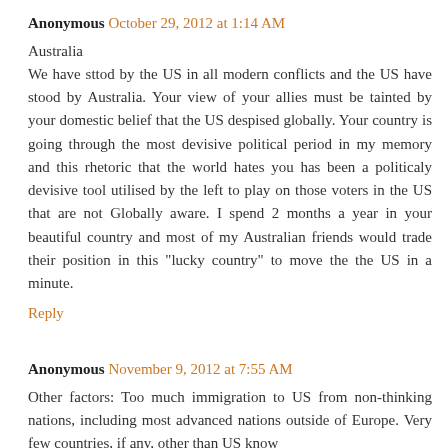Anonymous October 29, 2012 at 1:14 AM
Australia
We have sttod by the US in all modern conflicts and the US have stood by Australia. Your view of your allies must be tainted by your domestic belief that the US despised globally. Your country is going through the most devisive political period in my memory and this rhetoric that the world hates you has been a politicaly devisive tool utilised by the left to play on those voters in the US that are not Globally aware. I spend 2 months a year in your beautiful country and most of my Australian friends would trade their position in this "lucky country" to move the the US in a minute.
Reply
Anonymous November 9, 2012 at 7:55 AM
Other factors: Too much immigration to US from non-thinking nations, including most advanced nations outside of Europe. Very few countries, if any, other than US know